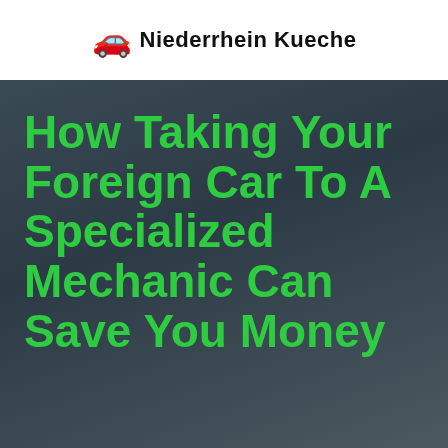Niederrhein Kueche
How Taking Your Foreign Car To A Specialized Mechanic Can Save You Money